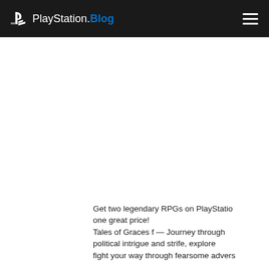PlayStation.Blog
Get two legendary RPGs on PlayStation one great price! Tales of Graces f — Journey through political intrigue and strife, explore fight your way through fearsome advers...

Tales of Xillia — Follow Jude Mathis and at the outset of their adventure through Rieze Maxia.